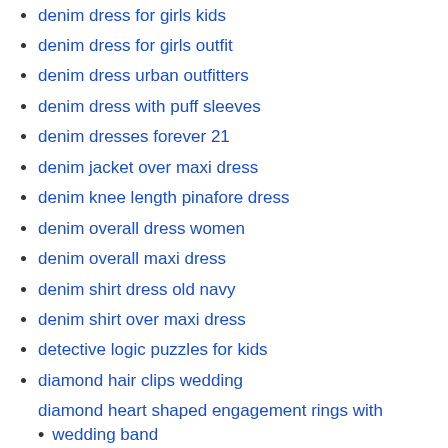denim dress for girls kids
denim dress for girls outfit
denim dress urban outfitters
denim dress with puff sleeves
denim dresses forever 21
denim jacket over maxi dress
denim knee length pinafore dress
denim overall dress women
denim overall maxi dress
denim shirt dress old navy
denim shirt over maxi dress
detective logic puzzles for kids
diamond hair clips wedding
diamond heart shaped engagement rings with wedding band
difference between trade name and generic name